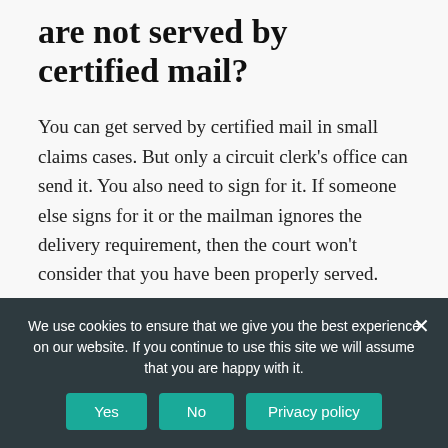are not served by certified mail?
You can get served by certified mail in small claims cases. But only a circuit clerk's office can send it. You also need to sign for it. If someone else signs for it or the mailman ignores the delivery requirement, then the court won't consider that you have been properly served.
What happens when a customer
We use cookies to ensure that we give you the best experience on our website. If you continue to use this site we will assume that you are happy with it.